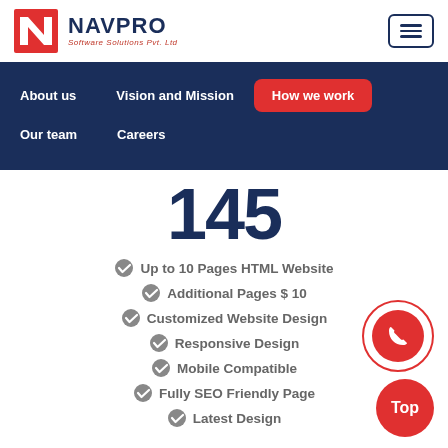[Figure (logo): NAVPRO Software Solutions Pvt. Ltd logo with red N icon and navy blue text]
[Figure (other): Hamburger menu button with navy border]
About us
Vision and Mission
How we work
Our team
Careers
145
Up to 10 Pages HTML Website
Additional Pages $ 10
Customized Website Design
Responsive Design
Mobile Compatible
Fully SEO Friendly Page
Latest Design